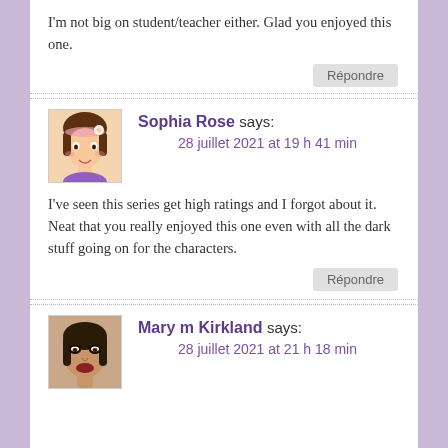I'm not big on student/teacher either. Glad you enjoyed this one.
Répondre
Sophia Rose says:
28 juillet 2021 at 19 h 41 min
I've seen this series get high ratings and I forgot about it. Neat that you really enjoyed this one even with all the dark stuff going on for the characters.
Répondre
Mary m Kirkland says:
28 juillet 2021 at 21 h 18 min